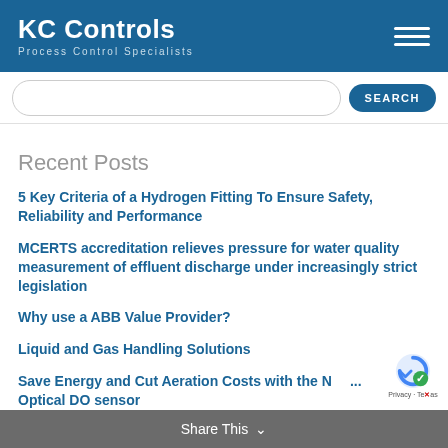KC Controls — Process Control Specialists
Recent Posts
5 Key Criteria of a Hydrogen Fitting To Ensure Safety, Reliability and Performance
MCERTS accreditation relieves pressure for water quality measurement of effluent discharge under increasingly strict legislation
Why use a ABB Value Provider?
Liquid and Gas Handling Solutions
Save Energy and Cut Aeration Costs with the New Optical DO sensor
Share This